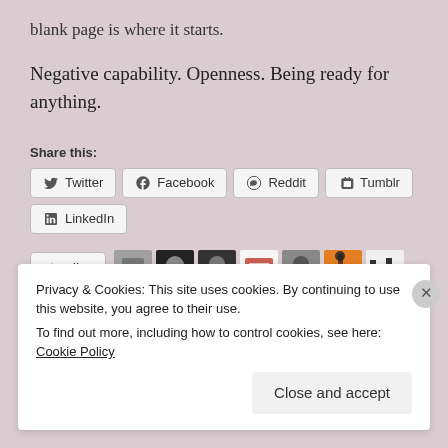blank page is where it starts.
Negative capability. Openness. Being ready for anything.
Share this:
Twitter | Facebook | Reddit | Tumblr | LinkedIn
[Figure (other): Like button with star icon, followed by a row of 7 blogger avatar images]
7 bloggers like this.
Privacy & Cookies: This site uses cookies. By continuing to use this website, you agree to their use.
To find out more, including how to control cookies, see here: Cookie Policy
Close and accept